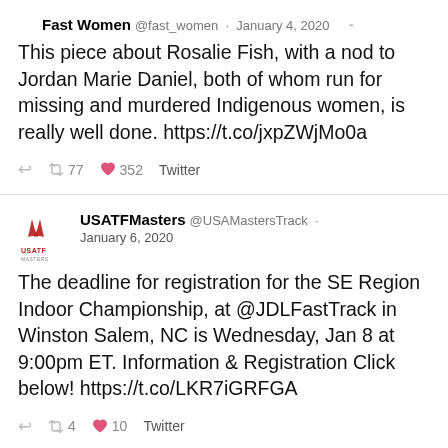Fast Women @fast_women · January 4, 2020
This piece about Rosalie Fish, with a nod to Jordan Marie Daniel, both of whom run for missing and murdered Indigenous women, is really well done. https://t.co/jxpZWjMo0a
↩ 77 ♥ 352 Twitter
USATFMasters @USAMastersTrack · January 6, 2020
The deadline for registration for the SE Region Indoor Championship, at @JDLFastTrack in Winston Salem, NC is Wednesday, Jan 8 at 9:00pm ET. Information & Registration Click below! https://t.co/LKR7iGRFGA
↩ 4 ♥ 10 Twitter